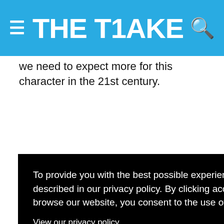THE TAKE
we need to expect more for this character in the 21st century.
To provide you with the best possible experience on our website, we may use cookies, as described in our privacy policy. By clicking accept, closing this banner, or continuing to browse our website, you consent to the use of such cookies.
View our privacy policy
Accept and close